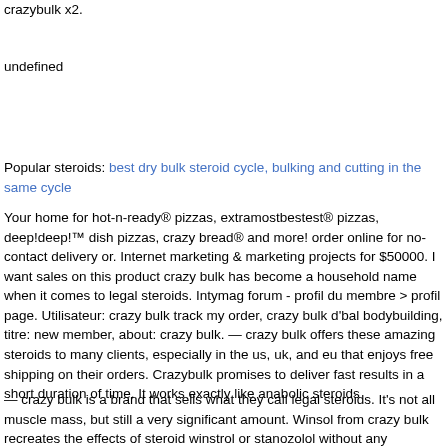crazybulk x2.
undefined
Popular steroids: best dry bulk steroid cycle, bulking and cutting in the same cycle
Your home for hot-n-ready® pizzas, extramostbestest® pizzas, deep!deep!™ dish pizzas, crazy bread® and more! order online for no-contact delivery or. Internet marketing & marketing projects for $50000. I want sales on this product crazy bulk has become a household name when it comes to legal steroids. Intymag forum - profil du membre > profil page. Utilisateur: crazy bulk track my order, crazy bulk d'bal bodybuilding, titre: new member, about: crazy bulk. — crazy bulk offers these amazing steroids to many clients, especially in the us, uk, and eu that enjoys free shipping on their orders. Crazybulk promises to deliver fast results in a short duration of time. It works exactly like anabolic steroids
— crazy bulk is a brand that sells what they call legal steroids. It's not all muscle mass, but still a very significant amount. Winsol from crazy bulk recreates the effects of steroid winstrol or stanozolol without any dangerous unwanted effects. All results